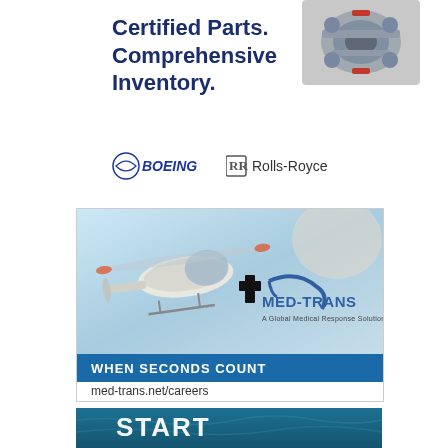[Figure (illustration): Engine/parts image top right corner]
Certified Parts. Comprehensive Inventory.
[Figure (logo): Boeing logo and Rolls-Royce logo side by side]
[Figure (photo): Med-Trans advertisement showing helicopter in flight with MED-TRANS logo, tagline WHEN SECONDS COUNT and URL med-trans.net/careers]
[Figure (illustration): Bottom advertisement showing START LIGHTER text on blue water background]